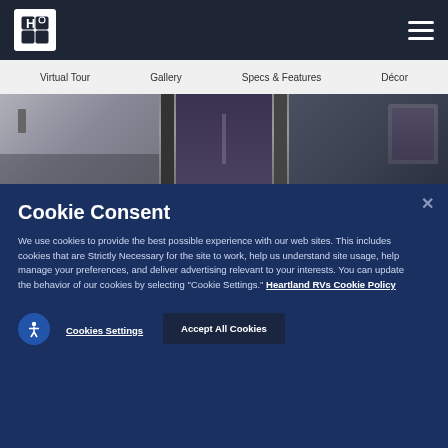Heartland RVs navigation bar with logo and hamburger menu
Virtual Tour | Gallery | Specs & Features | Décor
[Figure (photo): Interior photo strip of an RV showing cabinetry, hallway, and leather sofa seating]
Cookie Consent
We use cookies to provide the best possible experience with our web sites. This includes cookies that are Strictly Necessary for the site to work, help us understand site usage, help manage your preferences, and deliver advertising relevant to your interests. You can update the behavior of our cookies by selecting "Cookie Settings." Heartland RVs Cookie Policy
Cookies Settings
Accept All Cookies